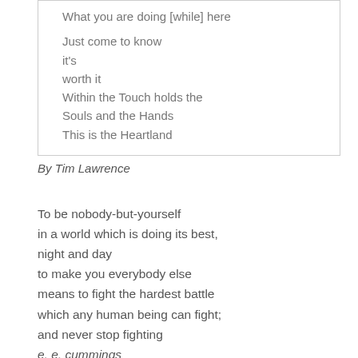What you are doing [while] here

Just come to know
it's
worth it
Within the Touch holds the
Souls and the Hands
This is the Heartland
By Tim Lawrence
To be nobody-but-yourself
in a world which is doing its best,
night and day
to make you everybody else
means to fight the hardest battle
which any human being can fight;
and never stop fighting
e. e. cummings